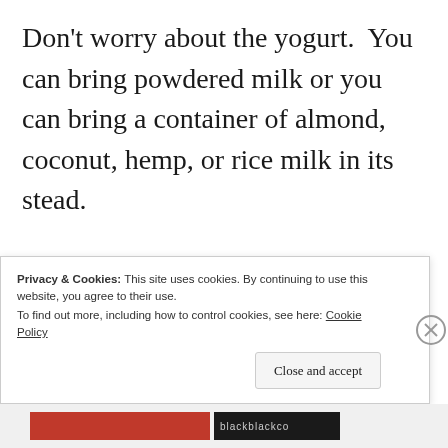Don't worry about the yogurt.  You can bring powdered milk or you can bring a container of almond, coconut, hemp, or rice milk in its stead.
Substitute dried fruits for the fresh fruit and brown sugar for the honey.
Privacy & Cookies: This site uses cookies. By continuing to use this website, you agree to their use.
To find out more, including how to control cookies, see here: Cookie Policy
Close and accept